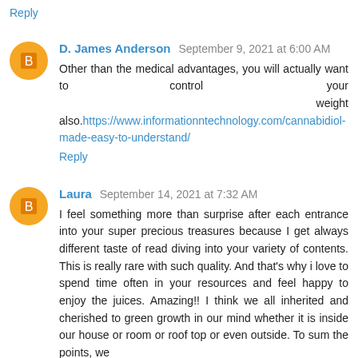Reply
D. James Anderson  September 9, 2021 at 6:00 AM
Other than the medical advantages, you will actually want to control your weight also.https://www.informationntechnology.com/cannabidiol-made-easy-to-understand/
Reply
Laura  September 14, 2021 at 7:32 AM
I feel something more than surprise after each entrance into your super precious treasures because I get always different taste of read diving into your variety of contents. This is really rare with such quality. And that's why i love to spend time often in your resources and feel happy to enjoy the juices. Amazing!! I think we all inherited and cherished to green growth in our mind whether it is inside our house or room or roof top or even outside. To sum the points, we